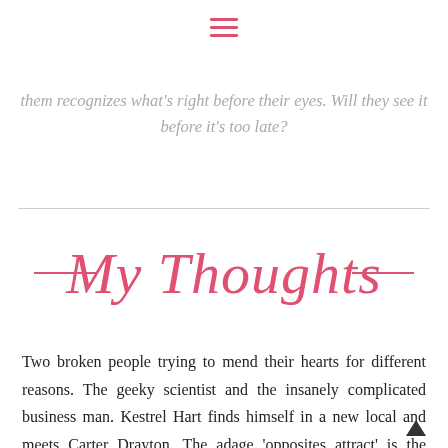≡
them recognizes what's right before their eyes. Will they see it before it's too late?
— My Thoughts —
Two broken people trying to mend their hearts for different reasons. The geeky scientist and the insanely complicated business man. Kestrel Hart finds himself in a new local and meets Carter Drayton. The adage 'opposites attract' is the understatement of the year as far as these two are concerned. Their chance meeting